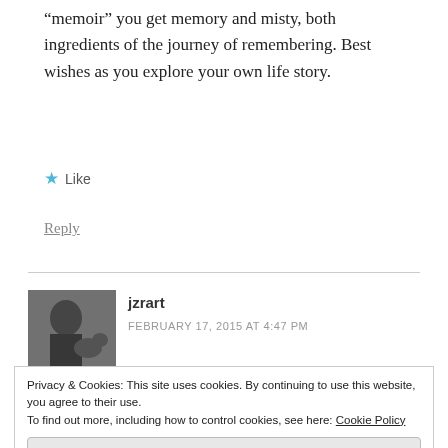“memoir” you get memory and misty, both ingredients of the journey of remembering. Best wishes as you explore your own life story.
★ Like
Reply
[Figure (photo): Black and white photo of a person with a dog]
jzrart
FEBRUARY 17, 2015 AT 4:47 PM
Privacy & Cookies: This site uses cookies. By continuing to use this website, you agree to their use.
To find out more, including how to control cookies, see here: Cookie Policy
Close and accept
some are more mysterious parts. I hope we get to